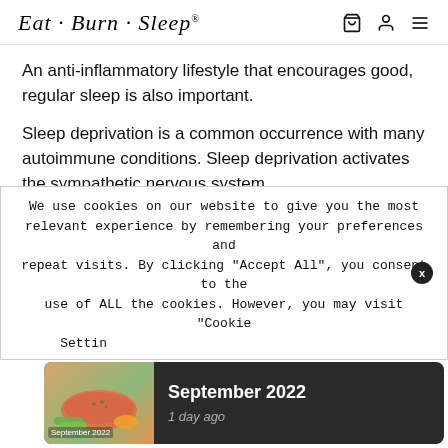Eat · Burn · Sleep
An anti-inflammatory lifestyle that encourages good, regular sleep is also important.
Sleep deprivation is a common occurrence with many autoimmune conditions. Sleep deprivation activates the sympathetic nervous system, increases pro-inflammatory cytokine production
We use cookies on our website to give you the most relevant experience by remembering your preferences and repeat visits. By clicking "Accept All", you consent to the use of ALL the cookies. However, you may visit "Cookie Settings"
[Figure (screenshot): Notification panel showing a food image (salmon with vegetables) and text 'September 2022' with '1 day ago']